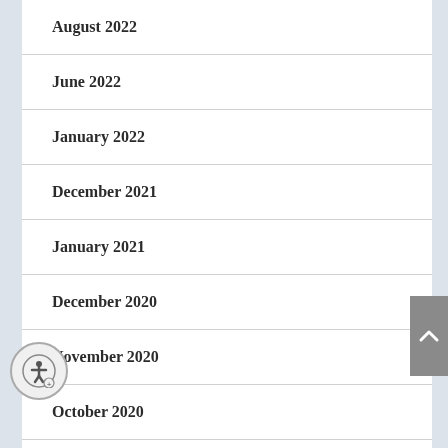August 2022
June 2022
January 2022
December 2021
January 2021
December 2020
November 2020
October 2020
September 2020
May 2020